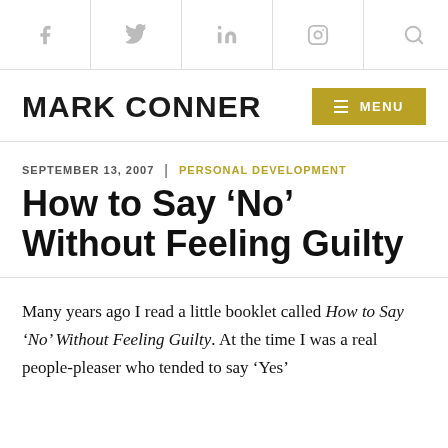MARK CONNER [social icons: Facebook, Twitter, LinkedIn, Instagram, Search]
SEPTEMBER 13, 2007 | PERSONAL DEVELOPMENT
How to Say ‘No’ Without Feeling Guilty
Many years ago I read a little booklet called How to Say ‘No’ Without Feeling Guilty. At the time I was a real people-pleaser who tended to say ‘Yes’